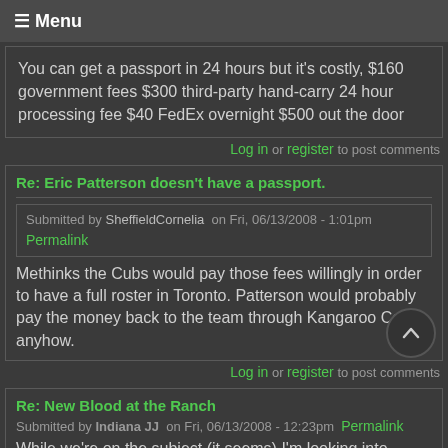≡ Menu
You can get a passport in 24 hours but it's costly, $160 government fees $300 third-party hand-carry 24 hour processing fee $40 FedEx overnight $500 out the door
Log in or register to post comments
Re: Eric Patterson doesn't have a passport.
Submitted by SheffieldCornelia on Fri, 06/13/2008 - 1:01pm
Permalink
Methinks the Cubs would pay those fees willingly in order to have a full roster in Toronto. Patterson would probably pay the money back to the team through Kangaroo Court anyhow.
Log in or register to post comments
Re: New Blood at the Ranch
Submitted by Indiana JJ on Fri, 06/13/2008 - 12:23pm Permalink
While we're on the subject (it seems) I'm looking into getting so... tickets later in the summer and trying to stay under $100 each. I'm looking at some seats on Stub Hub in aisle 411 or 431 (Infield